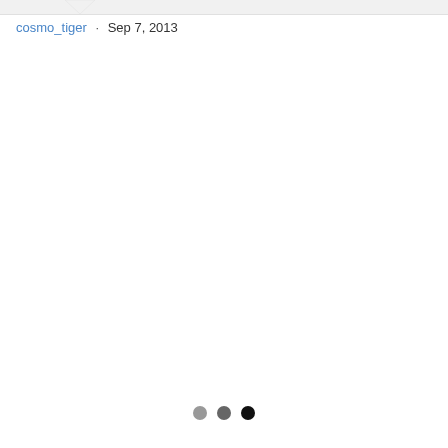cosmo_tiger · Sep 7, 2013
[Figure (illustration): Three dots indicating pagination or loading state: light gray, medium gray, and dark/black circles]